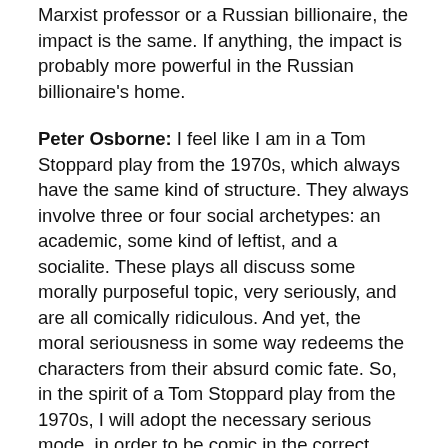Marxist professor or a Russian billionaire, the impact is the same. If anything, the impact is probably more powerful in the Russian billionaire's home.
Peter Osborne: I feel like I am in a Tom Stoppard play from the 1970s, which always have the same kind of structure. They always involve three or four social archetypes: an academic, some kind of leftist, and a socialite. These plays all discuss some morally purposeful topic, very seriously, and are all comically ridiculous. And yet, the moral seriousness in some way redeems the characters from their absurd comic fate. So, in the spirit of a Tom Stoppard play from the 1970s, I will adopt the necessary serious mode, in order to be comic in the correct way. That means that my language is going to be even more academic.
I want to respond to some of the